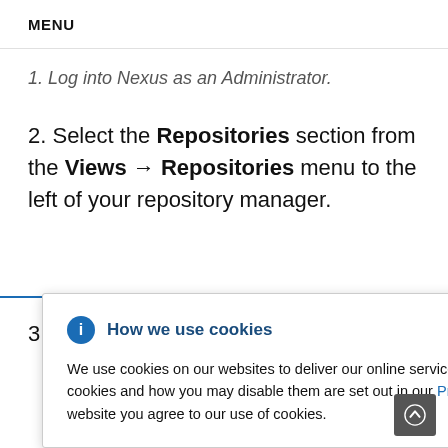MENU
1. Log into Nexus as an Administrator.
2. Select the Repositories section from the Views → Repositories menu to the left of your repository manager.
3. Click the Add... dropdown, then select
How we use cookies
We use cookies on our websites to deliver our online services. Details about how we use cookies and how you may disable them are set out in our Privacy Statement. By using this website you agree to our use of cookies.